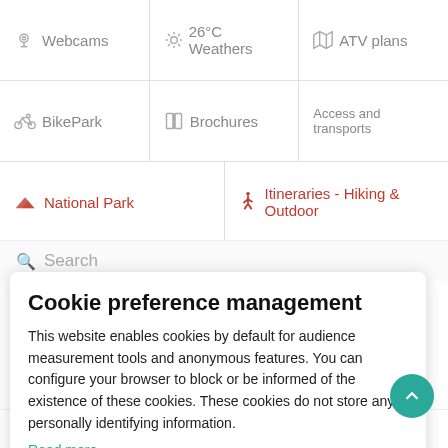Webcams
26°C Weathers
ATV plans
BikePark
Brochures
Access and transports
National Park
Itineraries - Hiking & Outdoor
Search
Cookie preference management
This website enables cookies by default for audience measurement tools and anonymous features. You can configure your browser to block or be informed of the existence of these cookies. These cookies do not store any personally identifying information.
Read more
No thanks
I choose
Ok for me
Reception points
Brochures